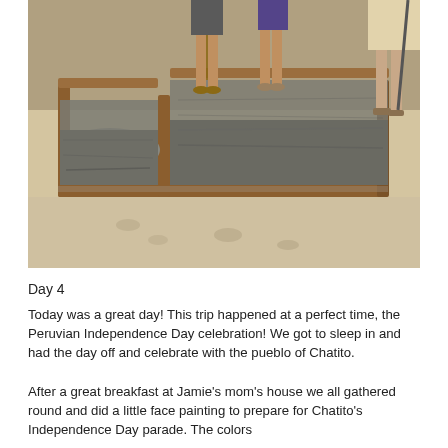[Figure (photo): Outdoor construction scene showing workers standing around a rectangular wooden form filled with wet concrete/cement on sandy ground. Workers are barefoot or in sandals. Bright daylight, arid environment.]
Day 4
Today was a great day! This trip happened at a perfect time, the Peruvian Independence Day celebration! We got to sleep in and had the day off and celebrate with the pueblo of Chatito.
After a great breakfast at Jamie's mom's house we all gathered round and did a little face painting to prepare for Chatito's Independence Day parade. The colors